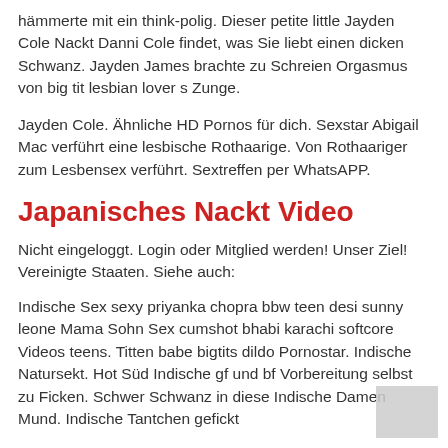hämmerte mit ein think-polig. Dieser petite little Jayden Cole Nackt Danni Cole findet, was Sie liebt einen dicken Schwanz. Jayden James brachte zu Schreien Orgasmus von big tit lesbian lover s Zunge.
Jayden Cole. Ähnliche HD Pornos für dich. Sexstar Abigail Mac verführt eine lesbische Rothaarige. Von Rothaariger zum Lesbensex verführt. Sextreffen per WhatsAPP.
Japanisches Nackt Video
Nicht eingeloggt. Login oder Mitglied werden! Unser Ziel! Vereinigte Staaten. Siehe auch:
Indische Sex sexy priyanka chopra bbw teen desi sunny leone Mama Sohn Sex cumshot bhabi karachi softcore Videos teens. Titten babe bigtits dildo Pornostar. Indische Natursekt. Hot Süd Indische gf und bf Vorbereitung selbst zu Ficken. Schwer Schwanz in diese Indische Damen Mund. Indische Tantchen gefickt